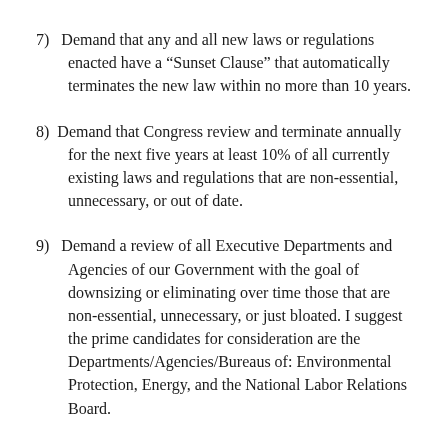7)   Demand that any and all new laws or regulations enacted have a “Sunset Clause” that automatically terminates the new law within no more than 10 years.
8)  Demand that Congress review and terminate annually for the next five years at least 10% of all currently existing laws and regulations that are non-essential, unnecessary, or out of date.
9)   Demand a review of all Executive Departments and Agencies of our Government with the goal of downsizing or eliminating over time those that are non-essential, unnecessary, or just bloated. I suggest the prime candidates for consideration are the Departments/Agencies/Bureaus of: Environmental Protection, Energy, and the National Labor Relations Board.